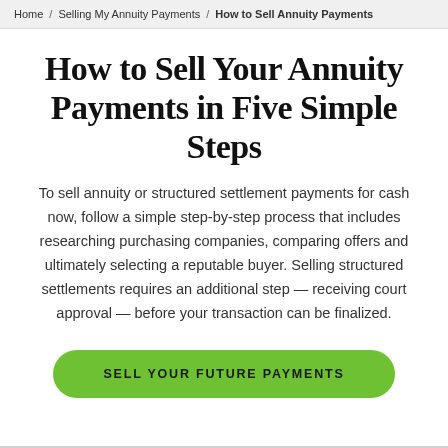Home / Selling My Annuity Payments / How to Sell Annuity Payments
How to Sell Your Annuity Payments in Five Simple Steps
To sell annuity or structured settlement payments for cash now, follow a simple step-by-step process that includes researching purchasing companies, comparing offers and ultimately selecting a reputable buyer. Selling structured settlements requires an additional step — receiving court approval — before your transaction can be finalized.
SELL YOUR FUTURE PAYMENTS